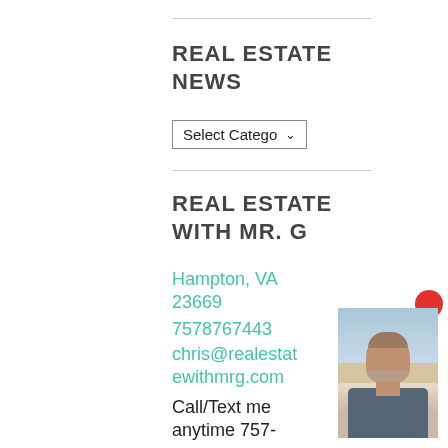REAL ESTATE NEWS
[Figure (screenshot): Dropdown selector labeled 'Select Catego' with a down arrow]
REAL ESTATE WITH MR. G
Hampton, VA 23669
7578767443
chris@realestatewithmrg.com
Call/Text me anytime 757-876-7443
[Figure (photo): Headshot photo of a middle-aged man with gray beard, against a blue and beige background, with a red circle notification dot in upper right corner]